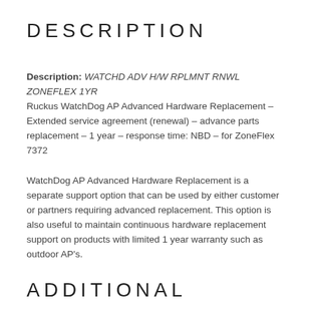DESCRIPTION
Description: WATCHD ADV H/W RPLMNT RNWL ZONEFLEX 1YR
Ruckus WatchDog AP Advanced Hardware Replacement – Extended service agreement (renewal) – advance parts replacement – 1 year – response time: NBD – for ZoneFlex 7372
WatchDog AP Advanced Hardware Replacement is a separate support option that can be used by either customer or partners requiring advanced replacement. This option is also useful to maintain continuous hardware replacement support on products with limited 1 year warranty such as outdoor AP's.
ADDITIONAL